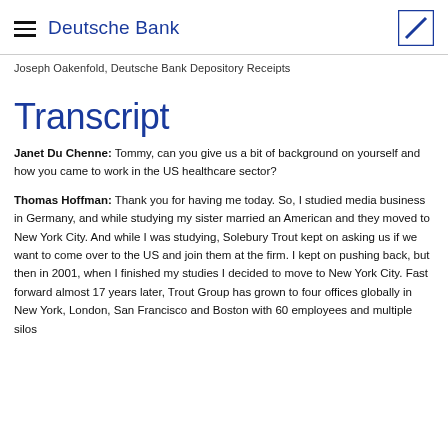Deutsche Bank
Joseph Oakenfold, Deutsche Bank Depository Receipts
Transcript
Janet Du Chenne: Tommy, can you give us a bit of background on yourself and how you came to work in the US healthcare sector?
Thomas Hoffman: Thank you for having me today. So, I studied media business in Germany, and while studying my sister married an American and they moved to New York City. And while I was studying, Solebury Trout kept on asking us if we want to come over to the US and join them at the firm. I kept on pushing back, but then in 2001, when I finished my studies I decided to move to New York City. Fast forward almost 17 years later, Trout Group has grown to four offices globally in New York, London, San Francisco and Boston with 60 employees and multiple silos